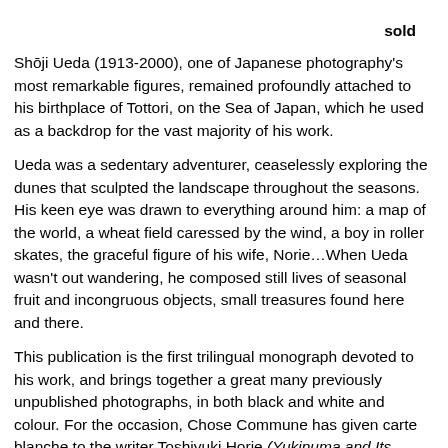sold
Shōji Ueda (1913-2000), one of Japanese photography's most remarkable figures, remained profoundly attached to his birthplace of Tottori, on the Sea of Japan, which he used as a backdrop for the vast majority of his work.
Ueda was a sedentary adventurer, ceaselessly exploring the dunes that sculpted the landscape throughout the seasons. His keen eye was drawn to everything around him: a map of the world, a wheat field caressed by the wind, a boy in roller skates, the graceful figure of his wife, Norie…When Ueda wasn't out wandering, he composed still lives of seasonal fruit and incongruous objects, small treasures found here and there.
This publication is the first trilingual monograph devoted to his work, and brings together a great many previously unpublished photographs, in both black and white and colour. For the occasion, Chose Commune has given carte blanche to the writer Toshiyuki Horie (Yukinuma and Its Environs, The Bear And The